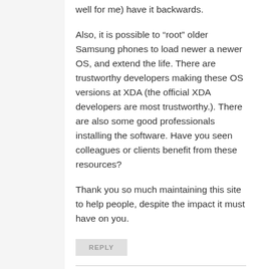well for me) have it backwards.
Also, it is possible to “root” older Samsung phones to load newer a newer OS, and extend the life. There are trustworthy developers making these OS versions at XDA (the official XDA developers are most trustworthy.). There are also some good professionals installing the software. Have you seen colleagues or clients benefit from these resources?
Thank you so much maintaining this site to help people, despite the impact it must have on you.
REPLY
DREW
December 13, 2019 at 10:22 am
Apologies: the S6 has a metal